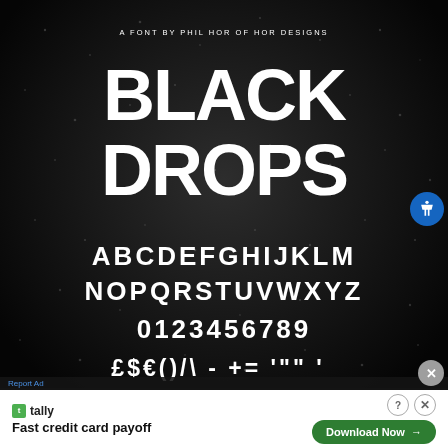[Figure (illustration): Black Drops font showcase on dark rainy background. Shows font name 'BLACK DROPS' in stylized blocky letters, subtitle 'A FONT BY PHIL HOR OF HOR DESIGNS', full uppercase alphabet A-Z across two rows, digits 0-9, and a row of special characters and symbols including punctuation and math operators. A blue accessibility button appears on the right edge. Below is an advertisement banner for Tally 'Fast credit card payoff' with a Download Now button.]
A FONT BY PHIL HOR OF HOR DESIGNS
BLACK DROPS
ABCDEFGHIJKLM
NOPQRSTUVWXYZ
0123456789
£$€()/?- += '""' '
Report Ad
tally  Fast credit card payoff
Download Now →